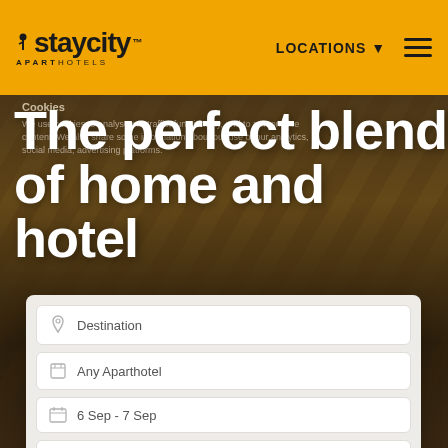Staycity Aparthotels — LOCATIONS ▼
Cookies
We use cookies to analyse our traffic, functionality, and to personalise content. We also share some information about our use of our analytics, social media, advertising platforms.
The perfect blend of home and hotel
Destination
Any Aparthotel
6 Sep  -   7 Sep
1 Apartment,  1 guest
SEARCH